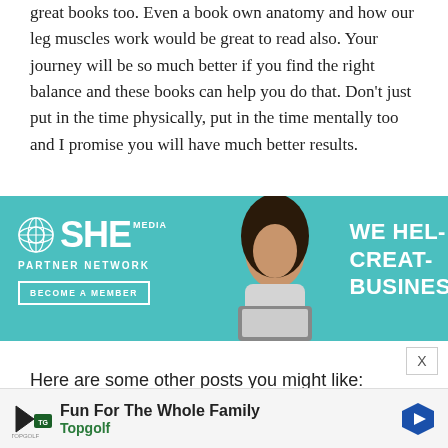great books too. Even a book own anatomy and how our leg muscles work would be great to read also. Your journey will be so much better if you find the right balance and these books can help you do that. Don’t just put in the time physically, put in the time mentally too and I promise you will have much better results.
[Figure (advertisement): SHE Media Partner Network advertisement banner with teal background, woman with laptop, text 'WE HEL... CREAT... BUSINESS...' and 'BECOME A MEMBER' button]
Here are some other posts you might like:
Biggest Diet Mistakes That Runners Will Often Make
The Best Stretching Tools For Runners
[Figure (advertisement): Topgolf bottom advertisement: 'Fun For The Whole Family' with Topgolf logo and blue hexagon arrow icon]